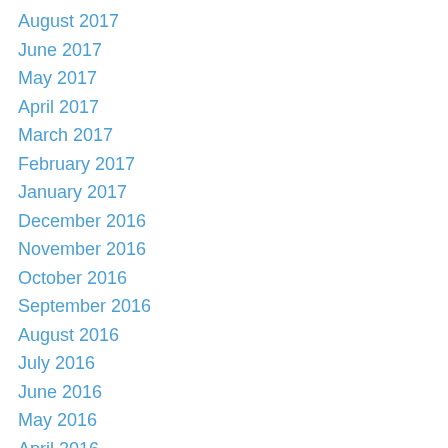August 2017
June 2017
May 2017
April 2017
March 2017
February 2017
January 2017
December 2016
November 2016
October 2016
September 2016
August 2016
July 2016
June 2016
May 2016
April 2016
March 2016
February 2016
December 2015
November 2015